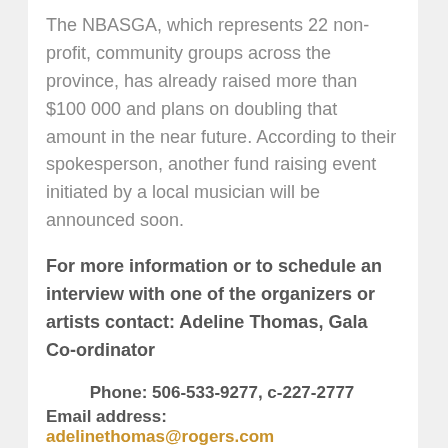The NBASGA, which represents 22 non-profit, community groups across the province, has already raised more than $100 000 and plans on doubling that amount in the near future. According to their spokesperson, another fund raising event initiated by a local musician will be announced soon.
For more information or to schedule an interview with one of the organizers or artists contact: Adeline Thomas, Gala Co-ordinator
Phone: 506-533-9277, c-227-2777
Email address: adelinethomas@rogers.com